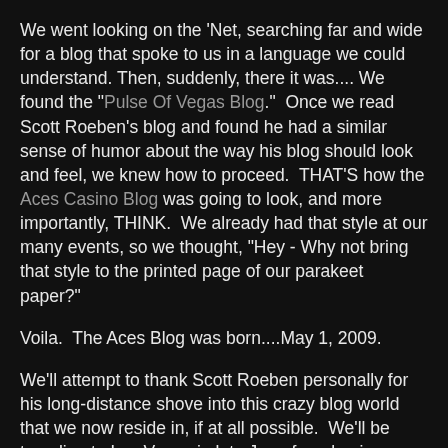We went looking on the 'Net, searching far and wide for a blog that spoke to us in a language we could understand. Then, suddenly, there it was.... We found the "Pulse Of Vegas Blog."  Once we read Scott Roeben's blog and found he had a similar sense of humor about the way his blog should look and feel, we knew how to proceed.  THAT'S how the Aces Casino Blog was going to look, and more importantly, THINK.  We already had that style at our many events, so we thought, "Hey - Why not bring that style to the printed page of our parakeet paper?"
Voila.  The Aces Blog was born....May 1, 2009.
We'll attempt to thank Scott Roeben personally for his long-distance shove into this crazy blog world that we now reside in, if at all possible.  We'll be traveling to Las Vegas in late June for a business trip related to both the blog AND Aces Casino, so we'll try to contact the blog-meister of the "Pulse Of Vegas Blog" and see if we can take him out to lunch, or something.  (Ed. Note: Just come back with the Roulette wheel we ordered, Mister Pulitzer.  We're not paying for your